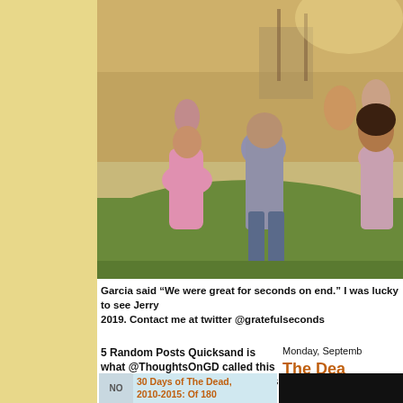[Figure (photo): Vintage outdoor music festival crowd scene, people dancing on green grass with a stage structure in background, warm sunlit atmosphere, 1970s style clothing including bell-bottom jeans and flowing dresses]
Garcia said “We were great for seconds on end.” I was lucky to see Jerry 2019. Contact me at twitter @gratefulseconds
5 Random Posts Quicksand is what @ThoughtsOnGD called this part of the lot. Ease Up Rick Harris
Monday, Septemb
The Dea
[Figure (screenshot): Blog post thumbnail with light blue background showing text: 30 Days of The Dead, 2010-2015: Of 180, with NO label on left]
[Figure (other): Black bar/image on the right side bottom]